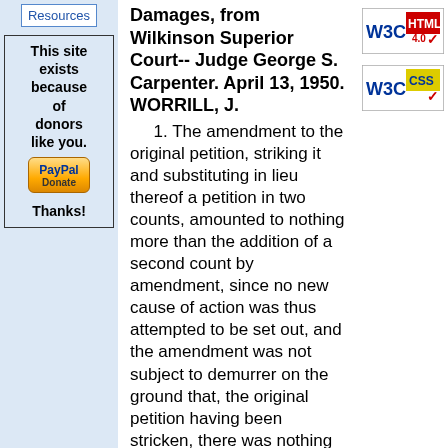Resources
This site exists because of donors like you.

PayPal Donate

Thanks!
Damages, from Wilkinson Superior Court-- Judge George S. Carpenter. April 13, 1950.
WORRILL, J.
1. The amendment to the original petition, striking it and substituting in lieu thereof a petition in two counts, amounted to nothing more than the addition of a second count by amendment, since no new cause of action was thus attempted to be set out, and the amendment was not subject to demurrer on the ground that, the original petition having been stricken, there was nothing left to amend by.
2. Each count of the petition set out a cause of action against the defendant for the negligent
[Figure (logo): W3C HTML 4.0 validation badge with red checkmark]
[Figure (logo): W3C CSS validation badge with red checkmark]